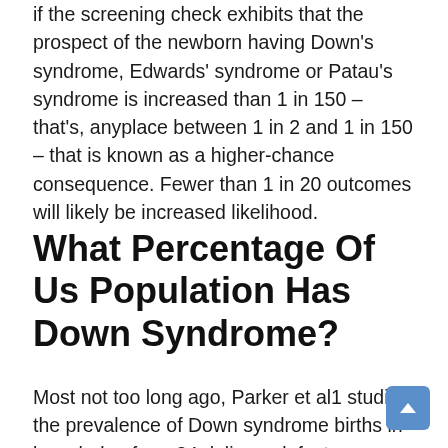if the screening check exhibits that the prospect of the newborn having Down's syndrome, Edwards' syndrome or Patau's syndrome is increased than 1 in 150 – that's, anyplace between 1 in 2 and 1 in 150 – that is known as a higher-chance consequence. Fewer than 1 in 20 outcomes will likely be increased likelihood.
What Percentage Of Us Population Has Down Syndrome?
Most not too long ago, Parker et al1 studied the prevalence of Down syndrome births in knowledge from 24 delivery defects packages accounting for 32.3% of whole US births, and estimated it as 14.47